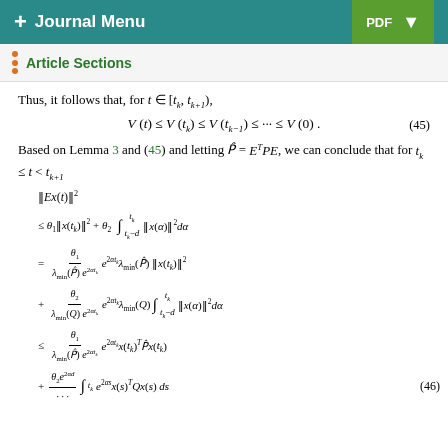+ Journal Menu | PDF
Article Sections
Thus, it follows that, for t ∈ [t_k, t_{k+1}),
Based on Lemma 3 and (45) and letting P̂ = E^T PE, we can conclude that for t_k ≤ t < t_{k+1}